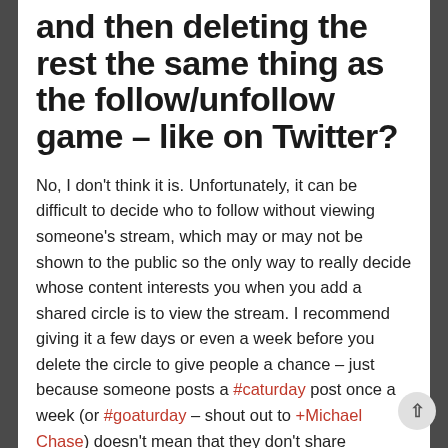and then deleting the rest the same thing as the follow/unfollow game – like on Twitter?
No, I don't think it is. Unfortunately, it can be difficult to decide who to follow without viewing someone's stream, which may or may not be shown to the public so the only way to really decide whose content interests you when you add a shared circle is to view the stream. I recommend giving it a few days or even a week before you delete the circle to give people a chance – just because someone posts a #caturday post once a week (or #goaturday – shout out to +Michael Chase) doesn't mean that they don't share anything that might interest